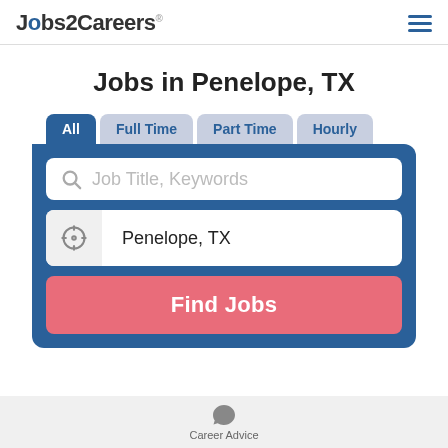Jobs2Careers
Jobs in Penelope, TX
[Figure (screenshot): Job search widget with tabs (All, Full Time, Part Time, Hourly), a keyword search field with placeholder 'Job Title, Keywords', a location field showing 'Penelope, TX', and a red 'Find Jobs' button, all within a blue rounded panel.]
Career Advice